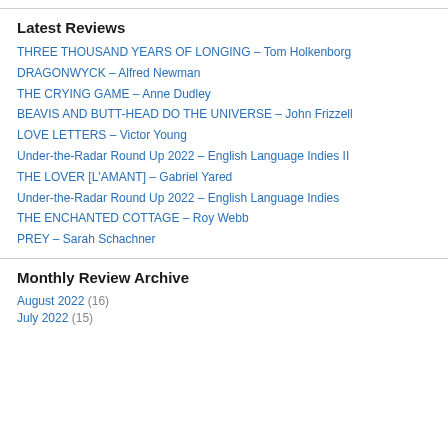Latest Reviews
THREE THOUSAND YEARS OF LONGING – Tom Holkenborg
DRAGONWYCK – Alfred Newman
THE CRYING GAME – Anne Dudley
BEAVIS AND BUTT-HEAD DO THE UNIVERSE – John Frizzell
LOVE LETTERS – Victor Young
Under-the-Radar Round Up 2022 – English Language Indies II
THE LOVER [L'AMANT] – Gabriel Yared
Under-the-Radar Round Up 2022 – English Language Indies
THE ENCHANTED COTTAGE – Roy Webb
PREY – Sarah Schachner
Monthly Review Archive
August 2022 (16)
July 2022 (15)